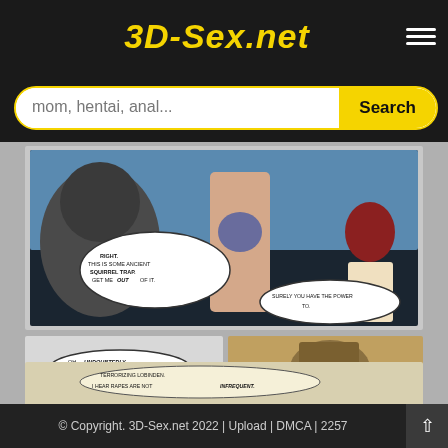3D-Sex.net
mom, hentai, anal...
[Figure (illustration): 3D adult comic page showing fantasy characters with speech bubbles reading: 'RIGHT. THIS IS SOME ANCIENT SQUIRREL TRAP. GET ME OUT OF IT.', 'SURELY YOU HAVE THE POWER TO.', 'OH, UNDOUBTEDLY.', 'TERRORIZING LOBINDEN. I HEAR RAPES ARE NOT INFREQUENT.']
© Copyright. 3D-Sex.net 2022 | Upload | DMCA | 2257